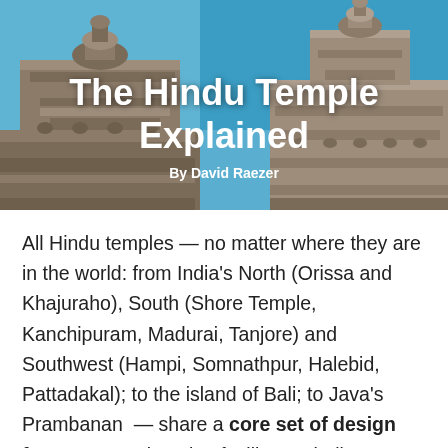[Figure (photo): Photograph of ancient Hindu temple stone towers (gopuram/shikhara) with intricate carvings against a blue sky, with title and byline overlaid]
The Hindu Temple Explained
By David Raezer
All Hindu temples — no matter where they are in the world: from India's North (Orissa and Khajuraho), South (Shore Temple, Kanchipuram, Madurai, Tanjore) and Southwest (Hampi, Somnathpur, Halebid, Pattadakal); to the island of Bali; to Java's Prambanan  — share a core set of design features, employed to facilitate a believer's interaction with the divine.